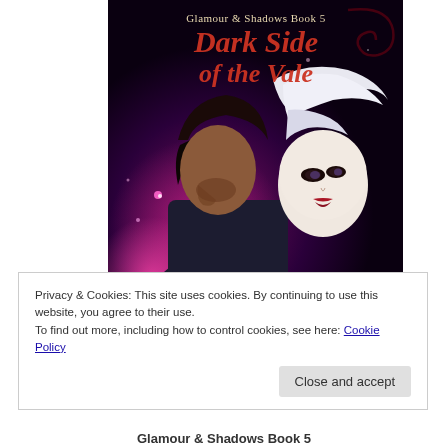[Figure (illustration): Book cover for 'Dark Side of the Vale' - Glamour & Shadows Book 5. Shows two fantasy figures back-to-back: a dark-haired male and a white-haired pale female, against a dark purple/magenta background with glowing sparks. Title text in red/orange stylized font.]
Privacy & Cookies: This site uses cookies. By continuing to use this website, you agree to their use.
To find out more, including how to control cookies, see here: Cookie Policy
Close and accept
Glamour & Shadows Book 5